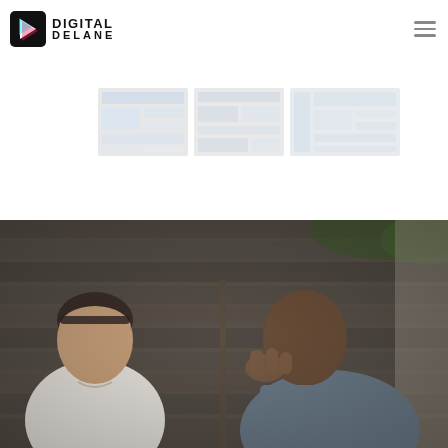Digital Delane
[Figure (screenshot): Three faded screenshots of website designs shown in a row]
[Figure (photo): Outdoor scene with two people — a woman in a white t-shirt and a man in a grey shirt — having a conversation in front of a weathered wooden wall]